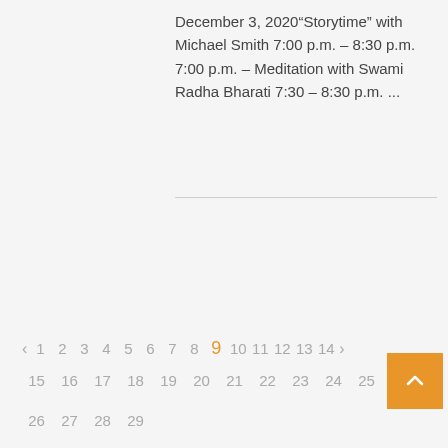December 3, 2020“Storytime” with Michael Smith 7:00 p.m. – 8:30 p.m. 7:00 p.m. – Meditation with Swami Radha Bharati 7:30 – 8:30 p.m. ...
< 1 2 3 4 5 6 7 8 9 10 11 12 13 14 > 15 16 17 18 19 20 21 22 23 24 25 26 27 28 29